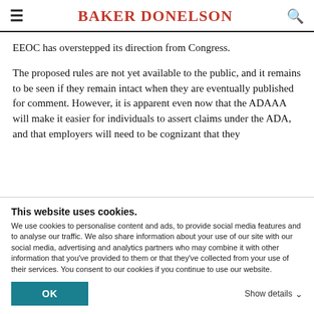BAKER DONELSON
EEOC has overstepped its direction from Congress.
The proposed rules are not yet available to the public, and it remains to be seen if they remain intact when they are eventually published for comment. However, it is apparent even now that the ADAAA will make it easier for individuals to assert claims under the ADA, and that employers will need to be cognizant that they
This website uses cookies.
We use cookies to personalise content and ads, to provide social media features and to analyse our traffic. We also share information about your use of our site with our social media, advertising and analytics partners who may combine it with other information that you've provided to them or that they've collected from your use of their services. You consent to our cookies if you continue to use our website.